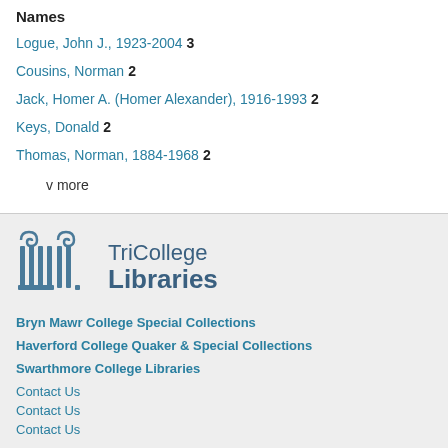Names
Logue, John J., 1923-2004  3
Cousins, Norman  2
Jack, Homer A. (Homer Alexander), 1916-1993  2
Keys, Donald  2
Thomas, Norman, 1884-1968  2
v more
[Figure (logo): TriCollege Libraries logo with stylized columns icon and text]
Bryn Mawr College Special Collections
Haverford College Quaker & Special Collections
Swarthmore College Libraries
Contact Us
Contact Us
Contact Us